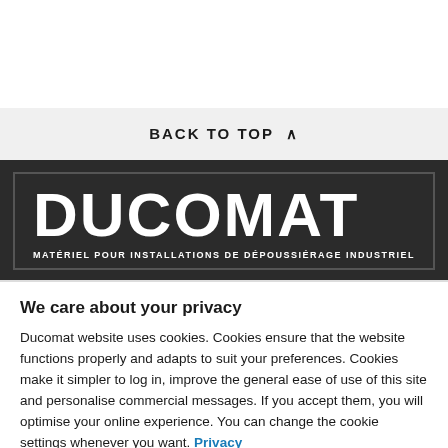BACK TO TOP ∧
[Figure (logo): Ducomat logo: large white bold text 'DUCOMAT' with subtitle 'MATÉRIEL POUR INSTALLATIONS DE DÉPOUSSIÉRAGE INDUSTRIEL' on dark background inside a border box]
We care about your privacy
Ducomat website uses cookies. Cookies ensure that the website functions properly and adapts to suit your preferences. Cookies make it simpler to log in, improve the general ease of use of this site and personalise commercial messages. If you accept them, you will optimise your online experience. You can change the cookie settings whenever you want. Privacy